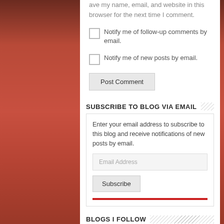ave my name, email, and website in this browser for the next time I comment.
Notify me of follow-up comments by email.
Notify me of new posts by email.
Post Comment
SUBSCRIBE TO BLOG VIA EMAIL
Enter your email address to subscribe to this blog and receive notifications of new posts by email.
Email Address
Subscribe
BLOGS I FOLLOW
Jani Allan
Juggling Act of Life